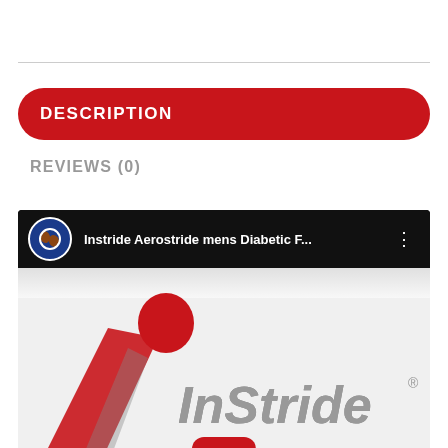DESCRIPTION
REVIEWS (0)
[Figure (screenshot): YouTube video embed showing 'Instride Aerostride mens Diabetic F...' with InStride Aerostride logo visible in the video thumbnail and a YouTube play button overlay]